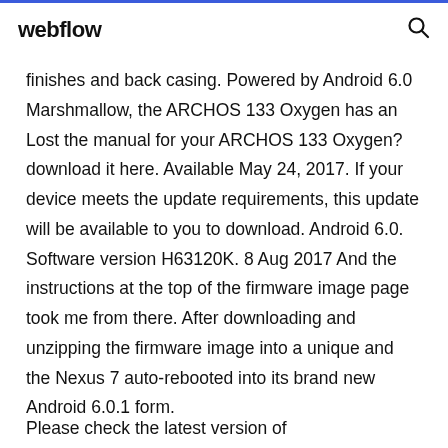webflow
finishes and back casing. Powered by Android 6.0 Marshmallow, the ARCHOS 133 Oxygen has an Lost the manual for your ARCHOS 133 Oxygen? download it here. Available May 24, 2017. If your device meets the update requirements, this update will be available to you to download. Android 6.0. Software version H63120K. 8 Aug 2017 And the instructions at the top of the firmware image page took me from there. After downloading and unzipping the firmware image into a unique and the Nexus 7 auto-rebooted into its brand new Android 6.0.1 form.
Please check the latest version of